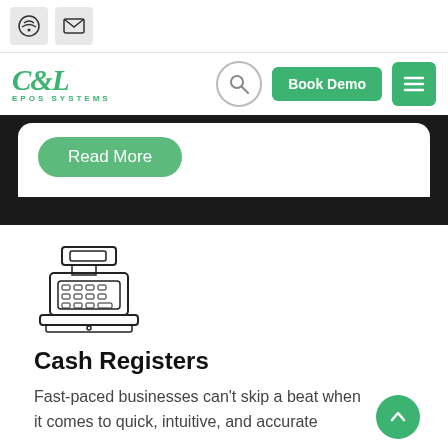[Figure (logo): C&L EPOS SYSTEMS logo in green italic serif font with subtitle 'EPOS SYSTEMS']
Read More
[Figure (illustration): Cash register icon outline illustration]
Cash Registers
Fast-paced businesses can't skip a beat when it comes to quick, intuitive, and accurate